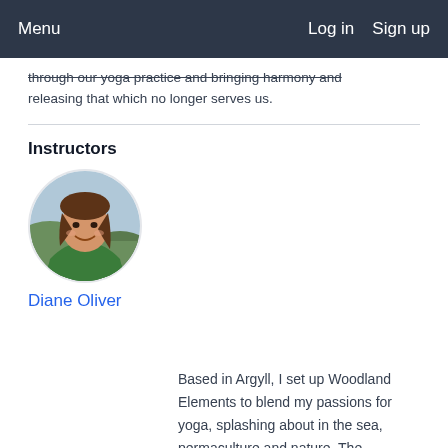Menu   Log in   Sign up
through our yoga practice and bringing harmony and releasing that which no longer serves us.
Instructors
[Figure (photo): Circular portrait photo of Diane Oliver, a woman with brown hair wearing a green jacket, outdoors.]
Diane Oliver
Based in Argyll, I set up Woodland Elements to blend my passions for yoga, splashing about in the sea, permaculture and nature. The connection between land and people for me is key and I love to share ideas, experiences and inspire others on